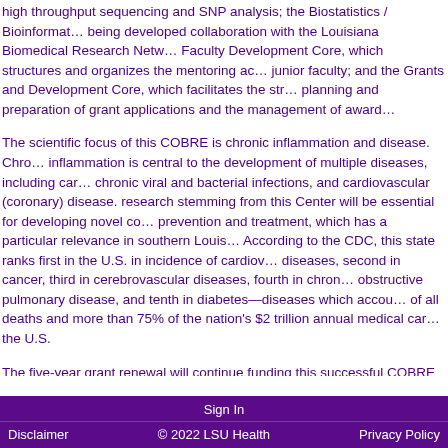high throughput sequencing and SNP analysis; the Biostatistics / Bioinformatics Core being developed collaboration with the Louisiana Biomedical Research Network; the Faculty Development Core, which structures and organizes the mentoring activities of junior faculty; and the Grants and Development Core, which facilitates the strategic planning and preparation of grant applications and the management of awarded grants.
The scientific focus of this COBRE is chronic inflammation and disease. Chronic inflammation is central to the development of multiple diseases, including cancer, chronic viral and bacterial infections, and cardiovascular (coronary) disease. The research stemming from this Center will be essential for developing novel concepts in prevention and treatment, which has a particular relevance in southern Louisiana. According to the CDC, this state ranks first in the U.S. in incidence of cardiovascular diseases, second in cancer, third in cerebrovascular diseases, fourth in chronic obstructive pulmonary disease, and tenth in diabetes—diseases which account for 70% of all deaths and more than 75% of the nation's $2 trillion annual medical care costs in the U.S.
The five-year grant renewal will continue funding this successful COBRE through the end of 2015. The original award, renewal, and supplements represent a total $14 million in direct federal funding.
Sign In | Disclaimer | © 2022 LSU Health | Privacy Policy